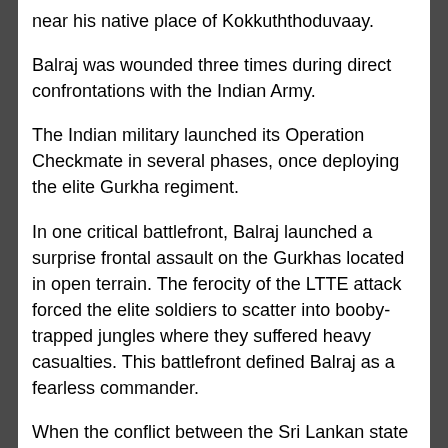near his native place of Kokkuththoduvaay.
Balraj was wounded three times during direct confrontations with the Indian Army.
The Indian military launched its Operation Checkmate in several phases, once deploying the elite Gurkha regiment.
In one critical battlefront, Balraj launched a surprise frontal assault on the Gurkhas located in open terrain. The ferocity of the LTTE attack forced the elite soldiers to scatter into booby-trapped jungles where they suffered heavy casualties. This battlefront defined Balraj as a fearless commander.
When the conflict between the Sri Lankan state and the LTTE resumed after the withdrawal of the IPKF, in what became known as Eelam War II, Balraj led key fronts in several battles and sweeping operations against the SLA.